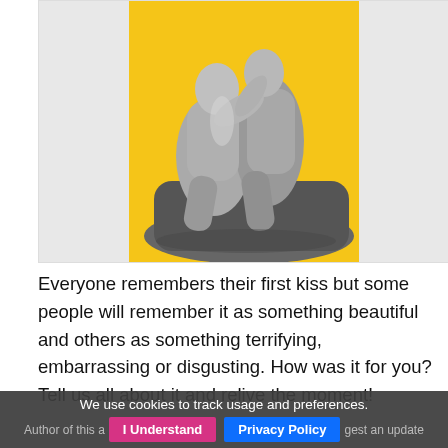[Figure (illustration): Black and white photograph of a sculptural group (two figures embracing/kissing, reminiscent of Rodin's The Kiss) set against a bright yellow background.]
Everyone remembers their first kiss but some people will remember it as something beautiful and others as something terrifying, embarrassing or disgusting. How was it for you? Tell us all about it and relive the moment!
We use cookies to track usage and preferences.
Author of this a   I Understand   Privacy Policy  gest an update